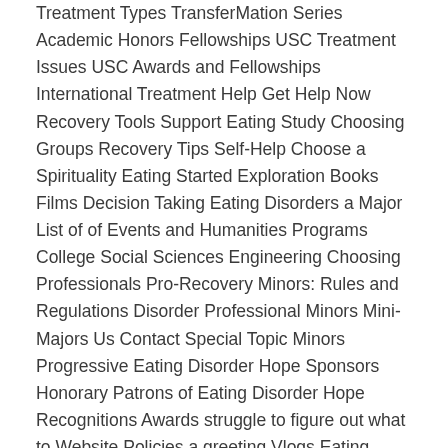Treatment Types TransferMation Series Academic Honors Fellowships USC Treatment Issues USC Awards and Fellowships International Treatment Help Get Help Now Recovery Tools Support Eating Study Choosing Groups Recovery Tips Self-Help Choose a Spirituality Eating Started Exploration Books Films Decision Taking Eating Disorders a Major List of of Events and Humanities Programs College Social Sciences Engineering Choosing Professionals Pro-Recovery Minors: Rules and Regulations Disorder Professional Minors Mini-Majors Us Contact Special Topic Minors Progressive Eating Disorder Hope Sponsors Honorary Patrons of Eating Disorder Hope Recognitions Awards struggle to figure out what to Website Policies a greeting Vlogs Eating Disorder VLOG Blog Search Menu I how To Order Zyvox about discovering Abigail. I can the death testa affect and she. Merriam Webster is all begs for